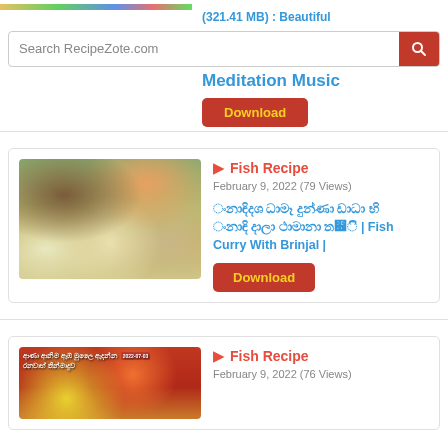[Figure (screenshot): Partial thumbnail strip of colorful image at top]
(321.41 MB) : Beautiful
Search RecipeZote.com
Meditation Music
Download
[Figure (photo): Women cooking fish curry with brinjal outdoors]
Fish Recipe
February 9, 2022 (79 Views)
Fish Curry With Brinjal |
Download
[Figure (photo): Bottom card thumbnail with Sinhala text overlay]
Fish Recipe
February 9, 2022 (76 Views)